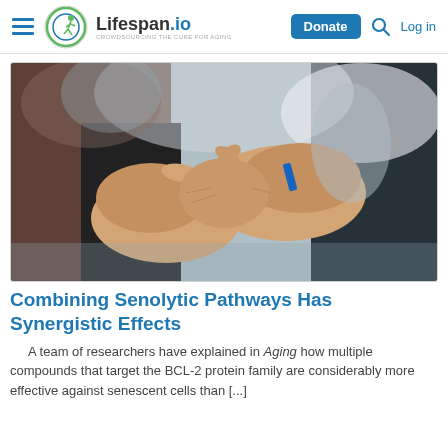Lifespan.io — CROWDSOURCING THE CURE FOR AGING | Donate | Log in
[Figure (photo): Close-up photograph of two people shaking hands, one wearing a dark jacket with a blue wristband, the other in a brown/maroon coat. Background is blurred.]
Combining Senolytic Pathways Has Synergistic Effects
A team of researchers have explained in Aging how multiple compounds that target the BCL-2 protein family are considerably more effective against senescent cells than [...]